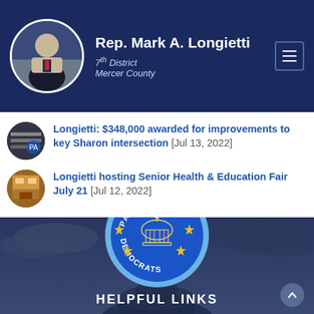Rep. Mark A. Longietti — 7th District, Mercer County
Longietti: $348,000 awarded for improvements to key Sharon intersection [Jul 13, 2022]
Longietti hosting Senior Health & Education Fair July 21 [Jul 12, 2022]
[Figure (logo): PA House Democrats circular logo with blue background, yellow stars, and capitol building illustration]
HELPFUL LINKS